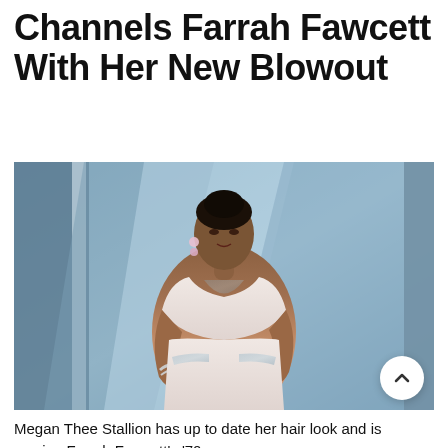Megan Thee Stallion Channels Farrah Fawcett With Her New Blowout
[Figure (photo): Megan Thee Stallion wearing a white strapless cutout dress at what appears to be a red carpet or Vanity Fair Oscar party event. Her hair is styled in an updo. Background shows blue geometric panels.]
Megan Thee Stallion has up to date her hair look and is serving Farrah Fawcett's '70s c...